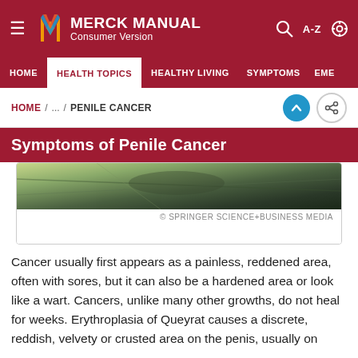MERCK MANUAL Consumer Version
HOME / ... / PENILE CANCER
Symptoms of Penile Cancer
[Figure (photo): Medical photograph related to penile cancer. Copyright Springer Science+Business Media.]
© SPRINGER SCIENCE+BUSINESS MEDIA
Cancer usually first appears as a painless, reddened area, often with sores, but it can also be a hardened area or look like a wart. Cancers, unlike many other growths, do not heal for weeks. Erythroplasia of Queyrat causes a discrete, reddish, velvety or crusted area on the penis, usually on